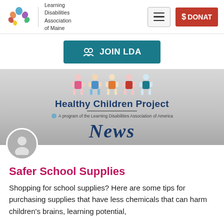Learning Disabilities Association of Maine
[Figure (logo): Learning Disabilities Association of Maine logo with colorful leaf/person icon]
[Figure (other): Hamburger menu button]
[Figure (other): DONATE button (red background)]
[Figure (other): JOIN LDA button (teal)]
[Figure (illustration): Healthy Children Project News banner with cartoon children holding hands, title text, LDA of America sub-text, and News in script font]
Safer School Supplies
Shopping for school supplies? Here are some tips for purchasing supplies that have less chemicals that can harm children's brains, learning potential, and health.